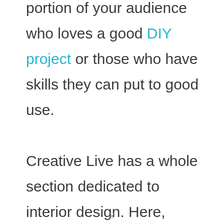portion of your audience who loves a good DIY project or those who have skills they can put to good use.

Creative Live has a whole section dedicated to interior design. Here, people can learn how to create their own decorations and designs. If they are at all creatively inclined in other areas, they have other classes readily available for them to
x